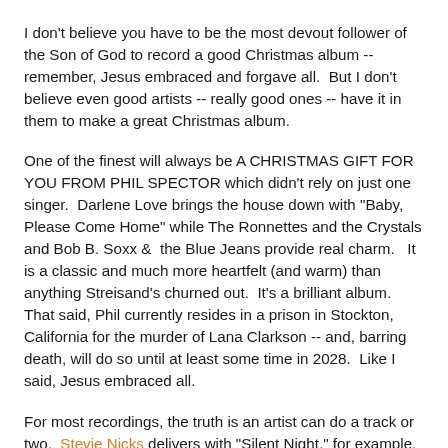I don't believe you have to be the most devout follower of the Son of God to record a good Christmas album -- remember, Jesus embraced and forgave all.  But I don't believe even good artists -- really good ones -- have it in them to make a great Christmas album.
One of the finest will always be A CHRISTMAS GIFT FOR YOU FROM PHIL SPECTOR which didn't rely on just one singer.  Darlene Love brings the house down with "Baby, Please Come Home" while The Ronnettes and the Crystals and Bob B. Soxx &  the Blue Jeans provide real charm.   It is a classic and much more heartfelt (and warm) than anything Streisand's churned out.  It's a brilliant album.  That said, Phil currently resides in a prison in Stockton, California for the murder of Lana Clarkson -- and, barring death, will do so until at least some time in 2028.  Like I said, Jesus embraced all.
For most recordings, the truth is an artist can do a track or two.  Stevie Nicks delivers with "Silent Night," for example.  I'm not sure, however, that -- love her though I do -- I need a